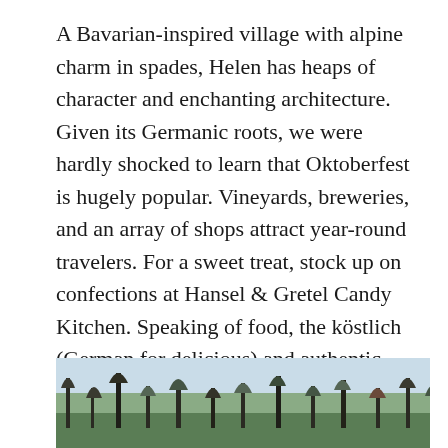A Bavarian-inspired village with alpine charm in spades, Helen has heaps of character and enchanting architecture. Given its Germanic roots, we were hardly shocked to learn that Oktoberfest is hugely popular. Vineyards, breweries, and an array of shops attract year-round travelers. For a sweet treat, stock up on confections at Hansel & Gretel Candy Kitchen. Speaking of food, the köstlich (German for delicious) and authentic dining scene also deserves a shout-out. Nearby Unicoi State Park offers 53 acres of forested trails, plus numerous campsites and a lake.
[Figure (photo): Partial view of a forested landscape with bare and leafy trees against a light sky, cropped at the bottom of the page.]